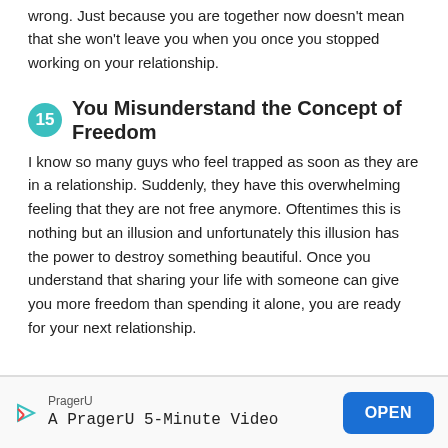wrong. Just because you are together now doesn't mean that she won't leave you when you once you stopped working on your relationship.
15 You Misunderstand the Concept of Freedom
I know so many guys who feel trapped as soon as they are in a relationship. Suddenly, they have this overwhelming feeling that they are not free anymore. Oftentimes this is nothing but an illusion and unfortunately this illusion has the power to destroy something beautiful. Once you understand that sharing your life with someone can give you more freedom than spending it alone, you are ready for your next relationship.
PragerU A PragerU 5-Minute Video OPEN